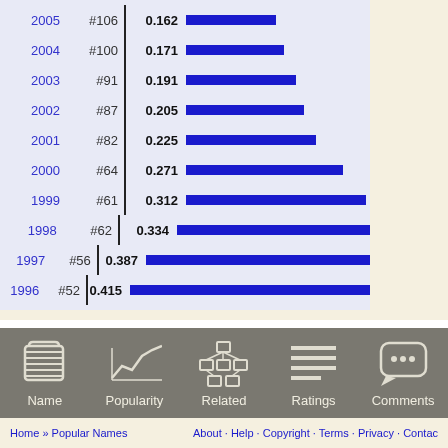[Figure (bar-chart): Name Popularity by Year]
Home » Popular Names    About · Help · Copyright · Terms · Privacy · Contact